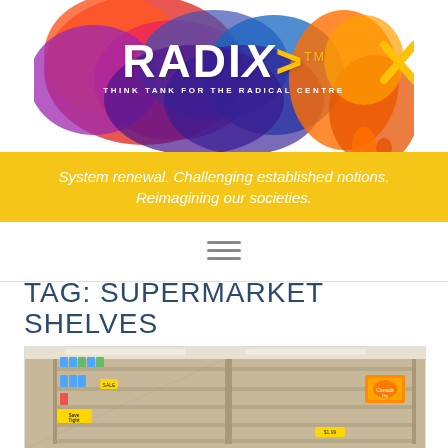[Figure (logo): RADIX Think Tank for the Radical Centre logo with colorful ink blob background. White text RADIX with a yellow arrow/X symbol and TM mark. Subtitle: THINK TANK FOR THE RADICAL CENTRE]
System renewal. Challenging established notions. Reimagining our societies.
[Figure (other): Hamburger menu icon (three horizontal lines)]
TAG: SUPERMARKET SHELVES
1 RESULTS (CLICK HERE TO FILTER)
[Figure (photo): Photo of mostly empty supermarket shelves with a few products remaining, including water bottles on the left side and an orange beverage pack on the right. A yellow Save Tight sign is visible.]